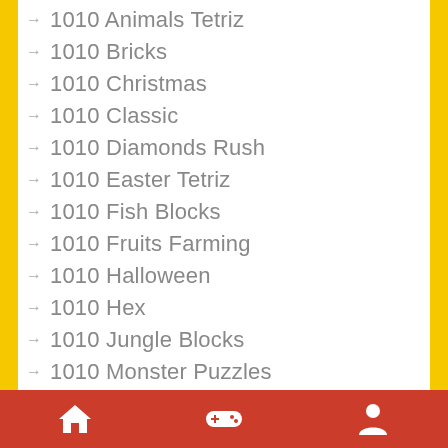1010 Animals Tetriz
1010 Bricks
1010 Christmas
1010 Classic
1010 Diamonds Rush
1010 Easter Tetriz
1010 Fish Blocks
1010 Fruits Farming
1010 Halloween
1010 Hex
1010 Jungle Blocks
1010 Monster Puzzles
1010 No Danger
1010 Treasures
1010!
10x 10
Home | Games | Profile